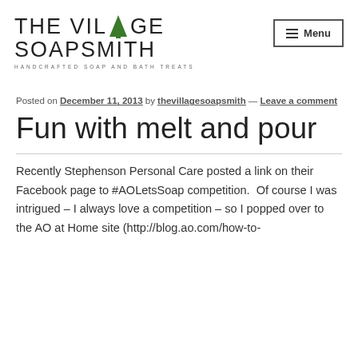[Figure (logo): The Village Soapsmith logo with green tree icon replacing the letter A, tagline: HANDCRAFTED SOAP AND BATH TREATS]
Posted on December 11, 2013 by thevillagesoapsmith — Leave a comment
Fun with melt and pour
Recently Stephenson Personal Care posted a link on their Facebook page to #AOLetsSoap competition.  Of course I was intrigued – I always love a competition – so I popped over to the AO at Home site (http://blog.ao.com/how-to-